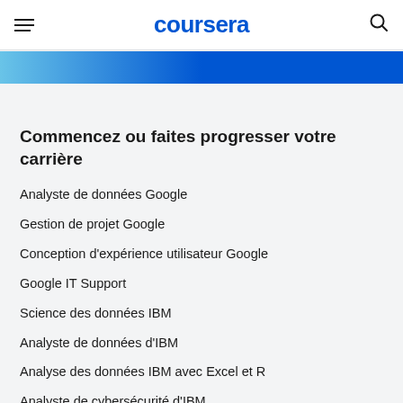coursera
Commencez ou faites progresser votre carrière
Analyste de données Google
Gestion de projet Google
Conception d'expérience utilisateur Google
Google IT Support
Science des données IBM
Analyste de données d'IBM
Analyse des données IBM avec Excel et R
Analyste de cybersécurité d'IBM
Ingénierie des données IBM